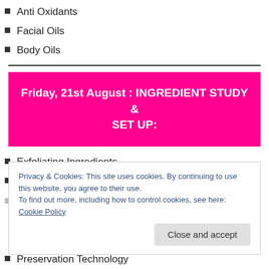Anti Oxidants
Facial Oils
Body Oils
[Figure (other): Horizontal divider line]
Friday, 21st August : INGREDIENT STUDY & SET UP:
Exfoliating Ingredients
Anti Aging Ingredients
Privacy & Cookies: This site uses cookies. By continuing to use this website, you agree to their use.
To find out more, including how to control cookies, see here: Cookie Policy
Preservation Technology